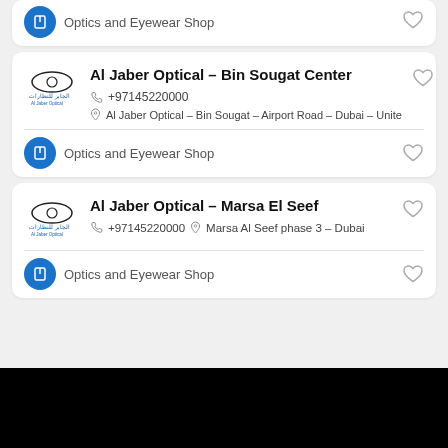Optics and Eyewear Shop
Al Jaber Optical – Bin Sougat Center
+97145220000
Al Jaber Optical – Bin Sougat – Airport Road – Dubai – Unite
Optics and Eyewear Shop
Al Jaber Optical – Marsa El Seef
+97145220000    Marsa Al Seef phase 3 – Dubai
Optics and Eyewear Shop